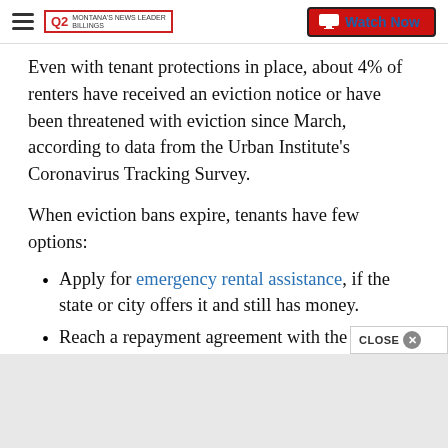Q2 MONTANA'S NEWS LEADER | Watch Now
Even with tenant protections in place, about 4% of renters have received an eviction notice or have been threatened with eviction since March, according to data from the Urban Institute's Coronavirus Tracking Survey.
When eviction bans expire, tenants have few options:
Apply for emergency rental assistance, if the state or city offers it and still has money.
Reach a repayment agreement with the landlord. Under such an agreement, tenants pay extra e... ...until they catch up with the rent...